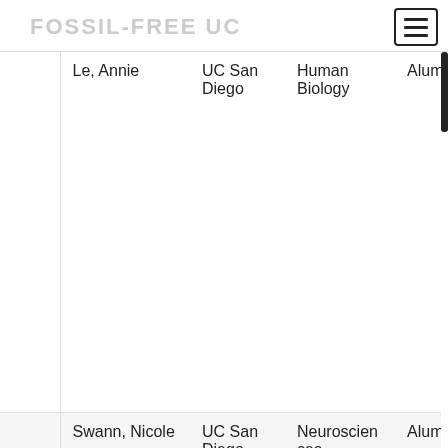FOSSIL-FREE UC
|  | Name | Campus | Department | Role |
| --- | --- | --- | --- | --- |
|  | Le, Annie | UC San Diego | Human Biology | Alumnus |
|  | Swann, Nicole | UC San Diego | Neurosciences | Alumnus |
|  | Greenhouse, Ian | UC San Diego | Psychology | Alumnus |
|  | Newman, | UC San | School of | Alumnus |